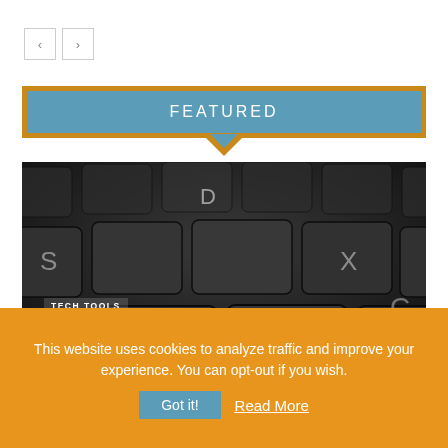[Figure (other): Navigation arrows: left and right chevron buttons]
FEATURED
[Figure (photo): Close-up photo of a dark computer keyboard with black keys showing letters S, D, X, C]
TECH TOOLS
Save Time With Windows Shortcuts
This website uses cookies to analyze traffic and improve your experience. You can opt-out if you wish.
Got it!   Read More